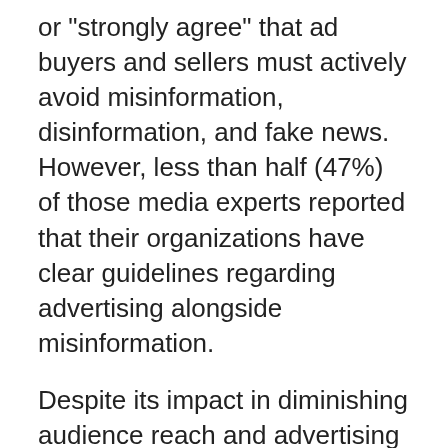or "strongly agree" that ad buyers and sellers must actively avoid misinformation, disinformation, and fake news. However, less than half (47%) of those media experts reported that their organizations have clear guidelines regarding advertising alongside misinformation.
Despite its impact in diminishing audience reach and advertising opportunities, broad blocking is most commonly used by industry experts to avoid misleading content. Nearly half of media experts (45%) plan to block entire content types, 43% will block specific topics, and 38% will block geographic locations where misinformation is common.